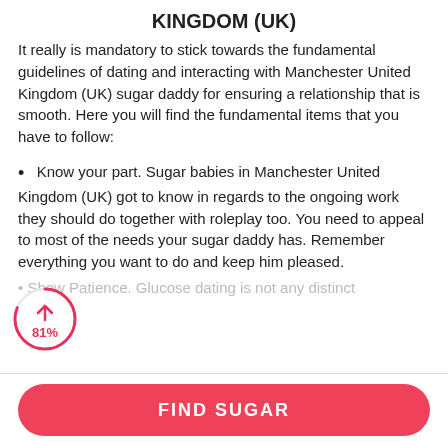KINGDOM (UK)
It really is mandatory to stick towards the fundamental guidelines of dating and interacting with Manchester United Kingdom (UK) sugar daddy for ensuring a relationship that is smooth. Here you will find the fundamental items that you have to follow:
Know your part. Sugar babies in Manchester United Kingdom (UK) got to know in regards to the ongoing work they should do together with roleplay too. You need to appeal to most of the needs your sugar daddy has. Remember everything you want to do and keep him pleased.
Show Patience. Glucose dating is not any distinct…
FIND SUGAR